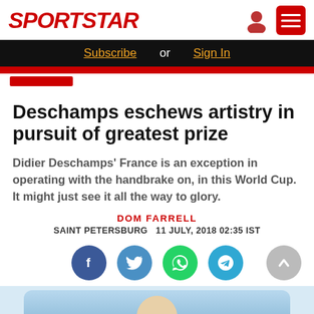SPORTSTAR
Subscribe or Sign In
Deschamps eschews artistry in pursuit of greatest prize
Didier Deschamps' France is an exception in operating with the handbrake on, in this World Cup. It might just see it all the way to glory.
DOM FARRELL
SAINT PETERSBURG  11 JULY, 2018 02:35 IST
[Figure (other): Social sharing buttons: Facebook, Twitter, WhatsApp, Telegram, and scroll-to-top button]
[Figure (photo): Photo of a person, likely Didier Deschamps, partially visible at bottom of page against a blue background]